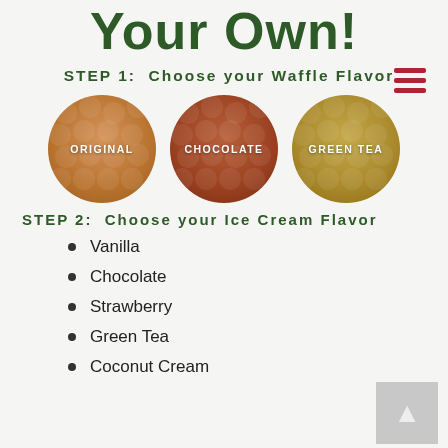Your Own!
[Figure (other): Hamburger/menu icon with three red horizontal lines]
STEP 1:  Choose your Waffle Flavor
[Figure (illustration): Three circular waffle ball images labeled ORIGINAL (golden brown), CHOCOLATE (dark brown), and GREEN TEA (olive/yellow)]
STEP 2:  Choose your Ice Cream Flavor
Vanilla
Chocolate
Strawberry
Green Tea
Coconut Cream